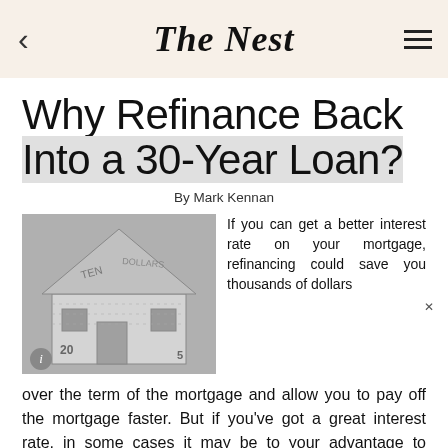The Nest
Why Refinance Back Into a 30-Year Loan?
By Mark Kennan
[Figure (photo): A house made of folded US dollar bills (twenty dollar and five dollar bills visible), styled as an origami house. Black and white image.]
If you can get a better interest rate on your mortgage, refinancing could save you thousands of dollars over the term of the mortgage and allow you to pay off the mortgage faster. But if you've got a great interest rate, in some cases it may be to your advantage to extend the mortgage as long as